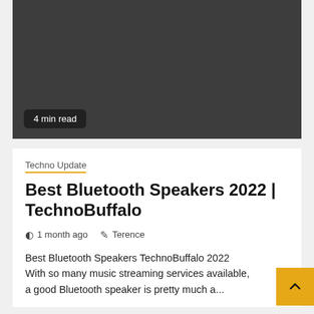[Figure (photo): Dark gray hero image placeholder for article thumbnail]
4 min read
Techno Update
Best Bluetooth Speakers 2022 | TechnoBuffalo
1 month ago   Terence
Best Bluetooth Speakers TechnoBuffalo 2022 With so many music streaming services available, a good Bluetooth speaker is pretty much a...